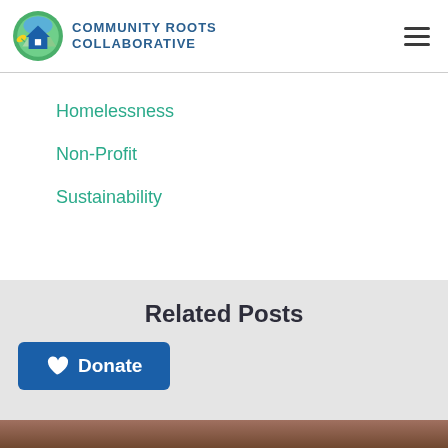Community Roots Collaborative
Homelessness
Non-Profit
Sustainability
Related Posts
Donate